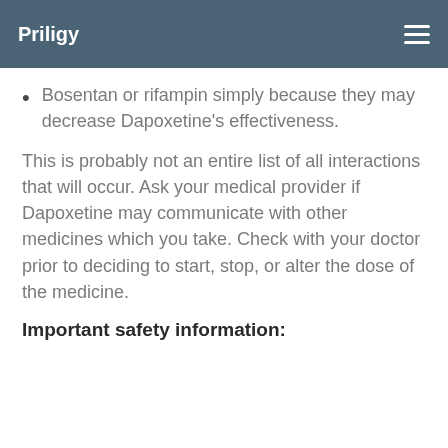Priligy
Bosentan or rifampin simply because they may decrease Dapoxetine's effectiveness.
This is probably not an entire list of all interactions that will occur. Ask your medical provider if Dapoxetine may communicate with other medicines which you take. Check with your doctor prior to deciding to start, stop, or alter the dose of the medicine.
Important safety information: